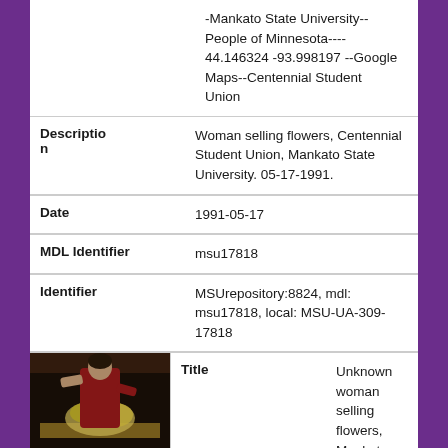| Field | Value |
| --- | --- |
| Description | Woman selling flowers, Centennial Student Union, Mankato State University. 05-17-1991. |
| Date | 1991-05-17 |
| MDL Identifier | msu17818 |
| Identifier | MSUrepository:8824, mdl: msu17818, local: MSU-UA-309-17818 |
[Figure (photo): Thumbnail photo of a woman selling flowers at Mankato State University]
| Field | Value |
| --- | --- |
| Title | Unknown woman selling flowers, Mankato State University. 05-17-1991. |
| Subject | --People of Minnesota--Mankato State University, --People of Minnesota---- 44.146324 -93.998197 --Google M... |